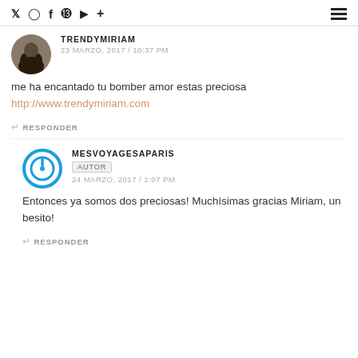Social icons and navigation menu
TRENDYMIRIAM
23 MARZO, 2017 / 10:37 PM
me ha encantado tu bomber amor estas preciosa
http://www.trendymiriam.com
↩ RESPONDER
MESVOYAGESAPARIS
AUTOR
24 MARZO, 2017 / 1:07 PM
Entonces ya somos dos preciosas! Muchísimas gracias Miriam, un besito!
↩ RESPONDER